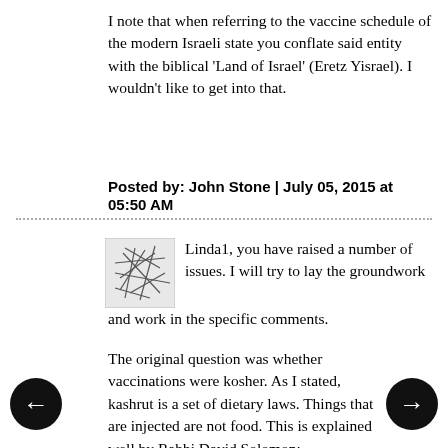I note that when referring to the vaccine schedule of the modern Israeli state you conflate said entity with the biblical 'Land of Israel' (Eretz Yisrael). I wouldn't like to get into that.
Posted by: John Stone | July 05, 2015 at 05:50 AM
[Figure (illustration): User avatar thumbnail with abstract line drawing]
Linda1, you have raised a number of issues. I will try to lay the groundwork and work in the specific comments.
The original question was whether vaccinations were kosher. As I stated, kashrut is a set of dietary laws. Things that are injected are not food. This is explained well by Rabbi David Solomon: